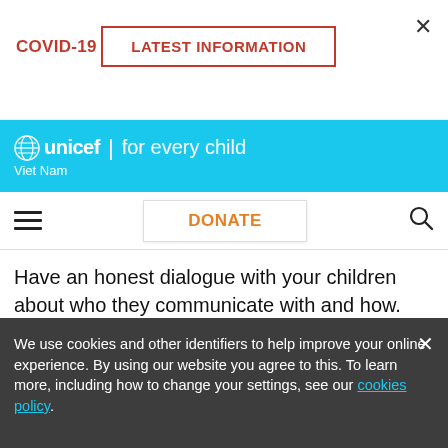COVID-19
LATEST INFORMATION
[Figure (logo): UNICEF logo with globe icon and tagline 'for every child', Viet Nam country label, on cyan/blue background]
DONATE
Have an honest dialogue with your children about who they communicate with and how. Make sure they understand the value of kind and supportive interactions and that mean,
We use cookies and other identifiers to help improve your online experience. By using our website you agree to this. To learn more, including how to change your settings, see our cookies policy.